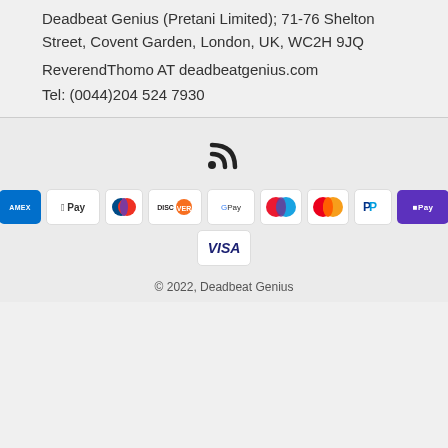Deadbeat Genius (Pretani Limited); 71-76 Shelton Street, Covent Garden, London, UK, WC2H 9JQ
ReverendThomo AT deadbeatgenius.com
Tel: (0044)204 524 7930
[Figure (other): RSS feed icon]
[Figure (other): Payment method badges: American Express, Apple Pay, Diners Club, Discover, Google Pay, Maestro, Mastercard, PayPal, Shop Pay, Visa]
© 2022, Deadbeat Genius